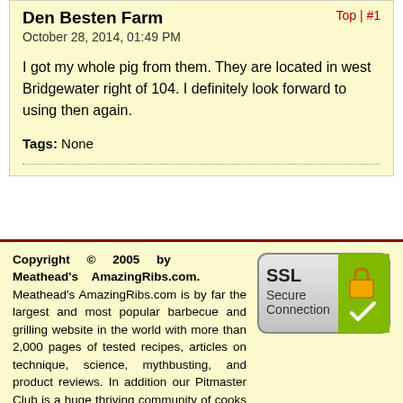Den Besten Farm
October 28, 2014, 01:49 PM
I got my whole pig from them. They are located in west Bridgewater right of 104. I definitely look forward to using then again.
Tags: None
Top
Copyright © 2005 by Meathead's AmazingRibs.com. Meathead's AmazingRibs.com is by far the largest and most popular barbecue and grilling website in the world with more than 2,000 pages of tested recipes, articles on technique, science, mythbusting, and product reviews. In addition our Pitmaster Club is a huge thriving community of cooks who love to share. All text, recipes, photos, and computer code are owned by Meathead's AmazingRibs.com and protected by US
[Figure (logo): SSL Secure Connection badge with padlock icon]